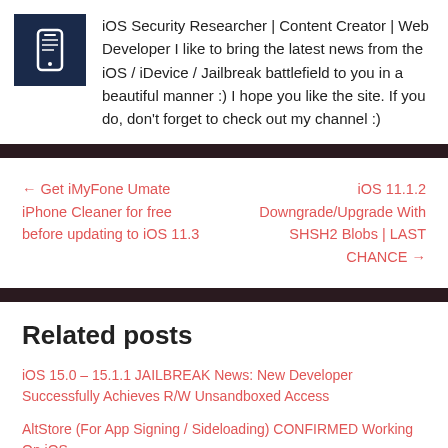[Figure (illustration): Author avatar icon: white smartphone/mobile device icon on dark navy blue square background]
iOS Security Researcher | Content Creator | Web Developer I like to bring the latest news from the iOS / iDevice / Jailbreak battlefield to you in a beautiful manner :) I hope you like the site. If you do, don't forget to check out my channel :)
← Get iMyFone Umate iPhone Cleaner for free before updating to iOS 11.3
iOS 11.1.2 Downgrade/Upgrade With SHSH2 Blobs | LAST CHANCE →
Related posts
iOS 15.0 – 15.1.1 JAILBREAK News: New Developer Successfully Achieves R/W Unsandboxed Access
AltStore (For App Signing / Sideloading) CONFIRMED Working On iOS